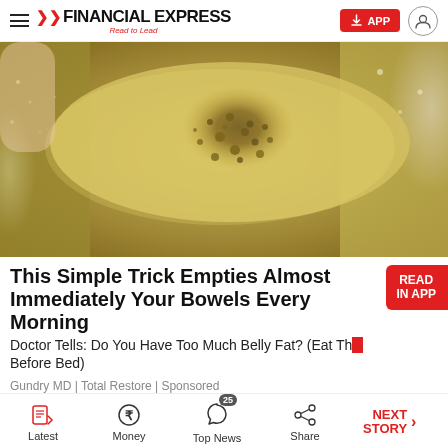FINANCIAL EXPRESS – Read to Lead
[Figure (photo): Close-up photo of a translucent yellowish surface with brown granular substance scattered on it, held by a hand, with a textured background.]
This Simple Trick Empties Almost Immediately Your Bowels Every Morning
Doctor Tells: Do You Have Too Much Belly Fat? (Eat This Before Bed)
Gundry MD | Total Restore | Sponsored
Latest | Money | Top News 25 | Share | NEXT STORY →